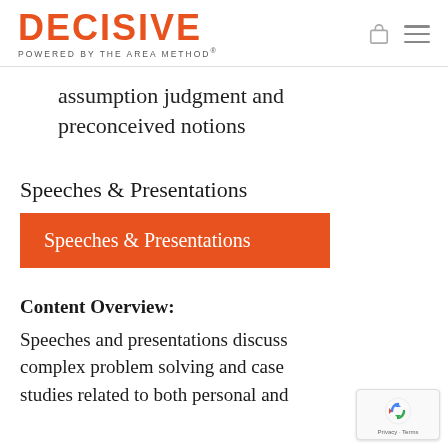DECISIVE POWERED BY THE AREA METHOD®
assumption judgment and preconceived notions
Speeches & Presentations
Speeches & Presentations
Content Overview:
Speeches and presentations discuss complex problem solving and case studies related to both personal and